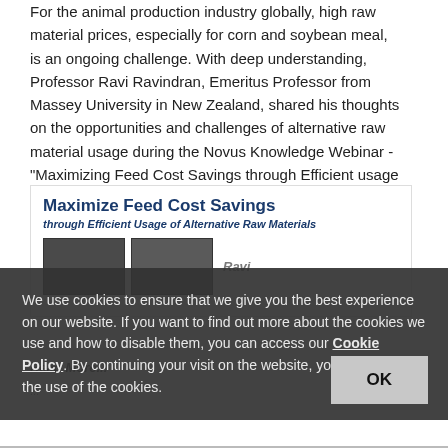For the animal production industry globally, high raw material prices, especially for corn and soybean meal, is an ongoing challenge. With deep understanding, Professor Ravi Ravindran, Emeritus Professor from Massey University in New Zealand, shared his thoughts on the opportunities and challenges of alternative raw material usage during the Novus Knowledge Webinar - "Maximizing Feed Cost Savings through Efficient usage of Alternative Raw Materials", which took place on 14 July 2022.
[Figure (screenshot): Webinar promotional banner titled 'Maximize Feed Cost Savings through Efficient Usage of Alternative Raw Materials' with two speaker photos and text]
Read More...
We use cookies to ensure that we give you the best experience on our website. If you want to find out more about the cookies we use and how to disable them, you can access our Cookie Policy. By continuing your visit on the website, you consent to the use of the cookies.